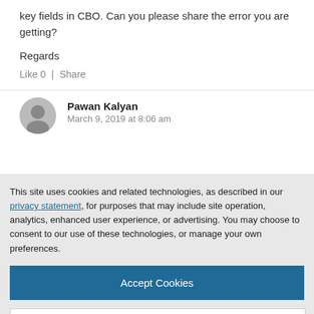key fields in CBO. Can you please share the error you are getting?
Regards
Like 0  |  Share
Pawan Kalyan
March 9, 2019 at 8:06 am
This site uses cookies and related technologies, as described in our privacy statement, for purposes that may include site operation, analytics, enhanced user experience, or advertising. You may choose to consent to our use of these technologies, or manage your own preferences.
Accept Cookies
More Information
Privacy Policy | Powered by: TrustArc